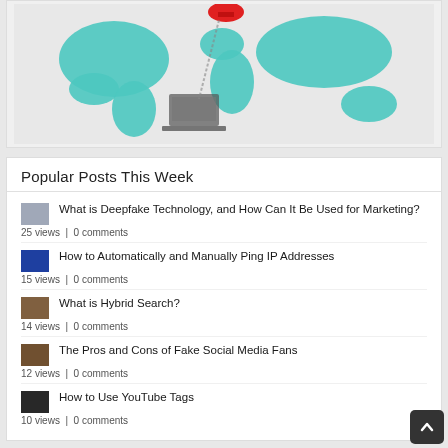[Figure (illustration): World map illustration with teal continents, a red location pin marker, and a laptop graphic, on a light gray background]
Popular Posts This Week
What is Deepfake Technology, and How Can It Be Used for Marketing?
25 views | 0 comments
How to Automatically and Manually Ping IP Addresses
15 views | 0 comments
What is Hybrid Search?
14 views | 0 comments
The Pros and Cons of Fake Social Media Fans
12 views | 0 comments
How to Use YouTube Tags
10 views | 0 comments